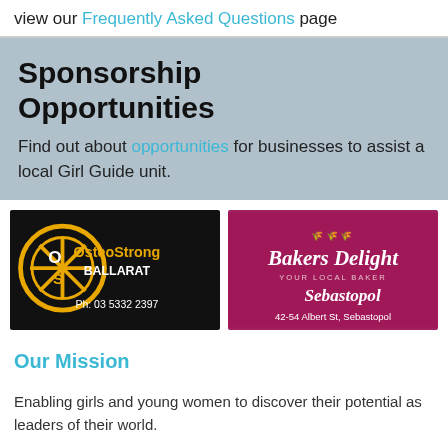view our Frequently Asked Questions page
Sponsorship Opportunities
Find out about opportunities for businesses to assist a local Girl Guide unit.
[Figure (logo): OsteoStrong Ballarat logo on black background with gold circular icon. Ph: 03 5332 2397]
[Figure (logo): Bakers Delight Your Local Baker Sebastopol logo on dark pink/maroon background. 42-54 Albert St, Sebastopol]
Our Mission
Enabling girls and young women to discover their potential as leaders of their world.